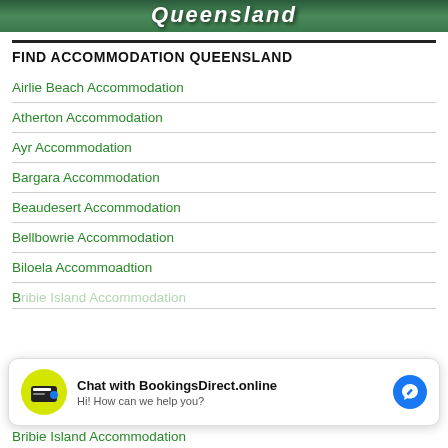[Figure (photo): Hero banner image with Queensland text overlay on a green landscape background]
FIND ACCOMMODATION QUEENSLAND
Airlie Beach Accommodation
Atherton Accommodation
Ayr Accommodation
Bargara Accommodation
Beaudesert Accommodation
Bellbowrie Accommodation
Biloela Accommoadtion
[Figure (screenshot): Chat widget popup: Chat with BookingsDirect.online - Hi! How can we help you?]
Bribie Island Accommodation